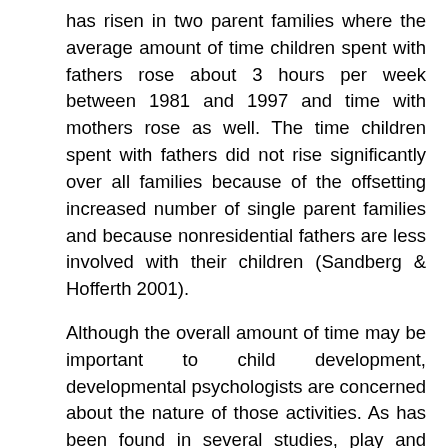has risen in two parent families where the average amount of time children spent with fathers rose about 3 hours per week between 1981 and 1997 and time with mothers rose as well. The time children spent with fathers did not rise significantly over all families because of the offsetting increased number of single parent families and because nonresidential fathers are less involved with their children (Sandberg & Hofferth 2001).
Although the overall amount of time may be important to child development, developmental psychologists are concerned about the nature of those activities. As has been found in several studies, play and companionship account for the largest fraction of time children spend with their fathers. About 39 percent of children's engaged time with fathers is spent in play and